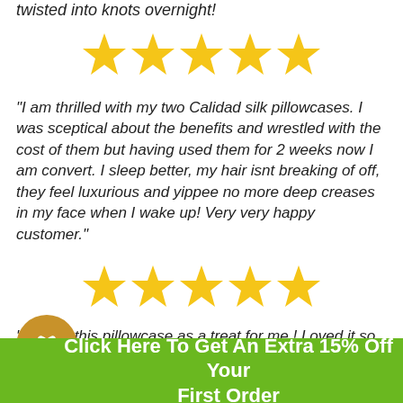twisted into knots overnight!
[Figure (other): Five gold stars rating]
"I am thrilled with my two Calidad silk pillowcases. I was sceptical about the benefits and wrestled with the cost of them but having used them for 2 weeks now I am convert. I sleep better, my hair isnt breaking of off, they feel luxurious and yippee no more deep creases in my face when I wake up! Very very happy customer."
[Figure (other): Five gold stars rating]
"Bought this pillowcase as a treat for me ! Loved it so much so purchased one for my friend - so now two happy customers - it certainly does what it says on the t...
Click Here To Get An Extra 15% Off Your First Order